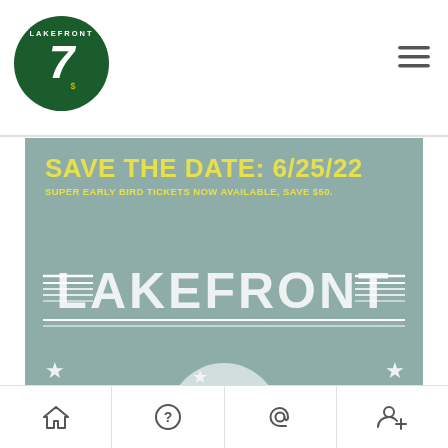[Figure (logo): Lakefront 7 logo — circular dark green badge with '7' and dollar sign]
[Figure (illustration): Hamburger/menu icon with three horizontal lines]
[Figure (illustration): Lakefront 7s event banner with sage green background. Text reads: SAVE THE DATE: 6/25/22, SUPER EARLY BIRD TICKETS NOW AVAILABLE, SAVE $50. Large LAKEFRONT text with decorative lines and stars, partial circular logo at bottom.]
[Figure (infographic): Bottom navigation bar with four icons: home, question mark, at-sign, person-plus]